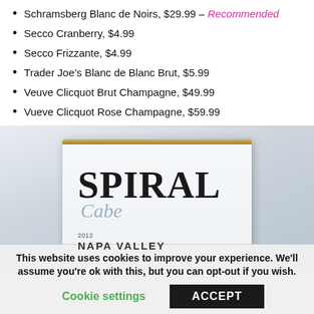Schramsberg Blanc de Noirs, $29.99 – Recommended
Secco Cranberry, $4.99
Secco Frizzante, $4.99
Trader Joe's Blanc de Blanc Brut, $5.99
Veuve Clicquot Brut Champagne, $49.99
Vueve Clicquot Rose Champagne, $59.99
[Figure (photo): Close-up photo of a Spiral wine bottle label showing 'SPIRAL Cabernet 2012 NAPA VALLEY' on a light blue-grey label with gold top border]
This website uses cookies to improve your experience. We'll assume you're ok with this, but you can opt-out if you wish.
Cookie settings  ACCEPT